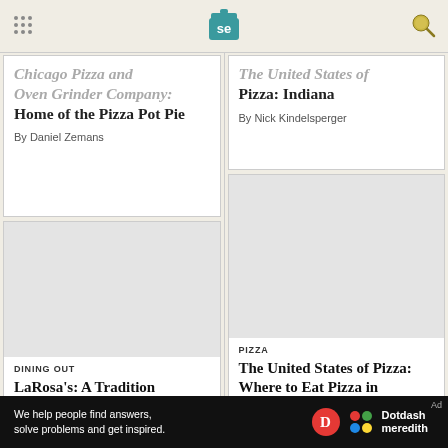Serious Eats (se) logo with navigation dots and search icon
Chicago Pizza and Oven Grinder Company: Home of the Pizza Pot Pie
By Daniel Zemans
The United States of Pizza: Indiana
By Nick Kindelsperger
[Figure (photo): Article card image placeholder for LaRosa's article]
DINING OUT
LaRosa's: A Tradition Cincinnatians Should Not Be Proud Of
[Figure (photo): Article card image placeholder for California pizza article]
PIZZA
The United States of Pizza: Where to Eat Pizza in California (Part 1, Northern California)
Ad — We help people find answers, solve problems and get inspired. Dotdash meredith